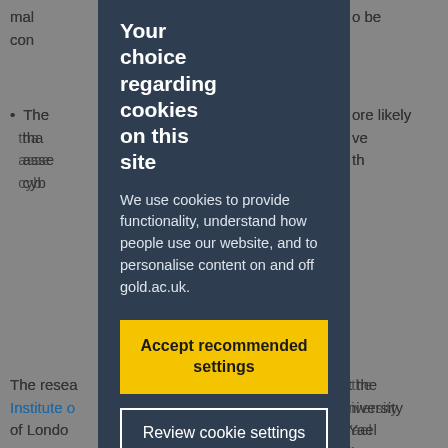mal... o be con...
The... ore likely tha... ve asse... th cyb...
The rese... t the Institute o... niversity of Londo... Yael Gerson. R... lison Wilson, A... oud and graphics...
You are now... ot prepared for cyberatt... rch shows"
[Figure (screenshot): Cookie consent modal overlay with dark navy background. Title reads 'Your choice regarding cookies on this site'. Body text: 'We use cookies to provide functionality, understand how people use our website, and to personalise content on and off gold.ac.uk.' Two buttons: 'Accept recommended settings' (yellow) and 'Review cookie settings' (outline white).]